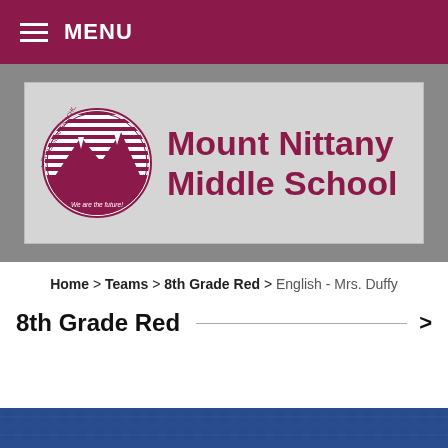MENU
[Figure (logo): Mount Nittany Middle School banner with State College Area School District circular logo and school name in maroon text on gray background]
Home > Teams > 8th Grade Red > English - Mrs. Duffy
8th Grade Red
[Figure (photo): Partial blue patterned image at bottom of page]